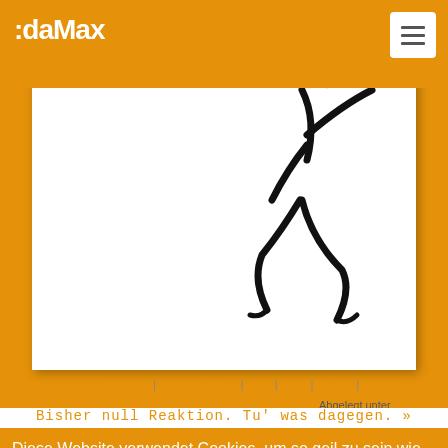:daMax
[Figure (illustration): A white card/box with a stylized black stick-figure running or jumping, shown against an orange background. The figure appears to be in motion with arms and legs extended.]
Ozapftis | Bundestrojaner | CCC | Hack | Hacker | Staatstrojaner
Abgelegt unter Dingens
Bisher null Reaktion. Tu' was dagegen. »
Diese Website verwendet Cookies, um so geil zu sein wie sie ist.
Cool, her damit!
Oh Gott oh Gott! NEIN! Das will ich nicht!